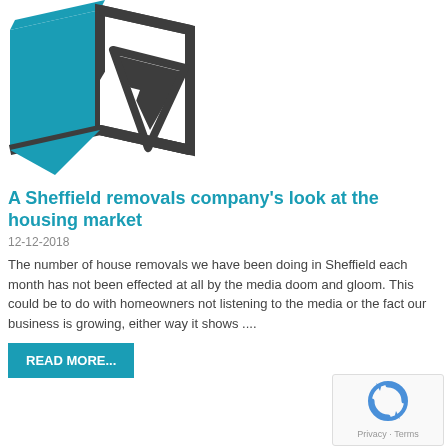[Figure (logo): Open box / removal van icon in teal and dark grey, representing a Sheffield removals company logo]
A Sheffield removals company's look at the housing market
12-12-2018
The number of house removals we have been doing in Sheffield each month has not been effected at all by the media doom and gloom. This could be to do with homeowners not listening to the media or the fact our business is growing, either way it shows ....
READ MORE...